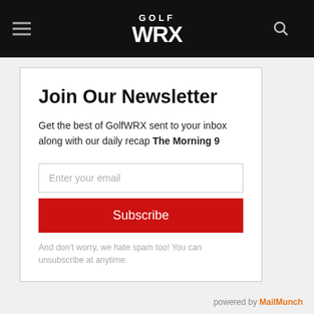GolfWRX
Join Our Newsletter
Get the best of GolfWRX sent to your inbox along with our daily recap The Morning 9
Enter your email
Subscribe
And don't worry, we hate spam too! You can unsubscribe at anytime.
powered by MailMunch